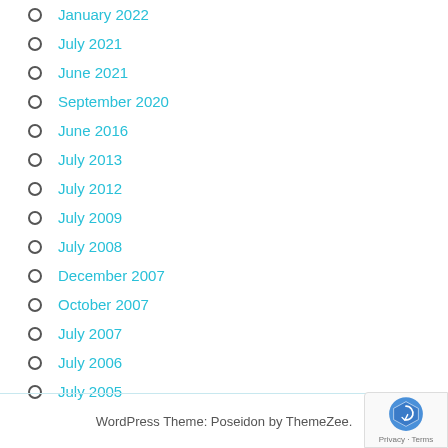January 2022
July 2021
June 2021
September 2020
June 2016
July 2013
July 2012
July 2009
July 2008
December 2007
October 2007
July 2007
July 2006
July 2005
WordPress Theme: Poseidon by ThemeZee.